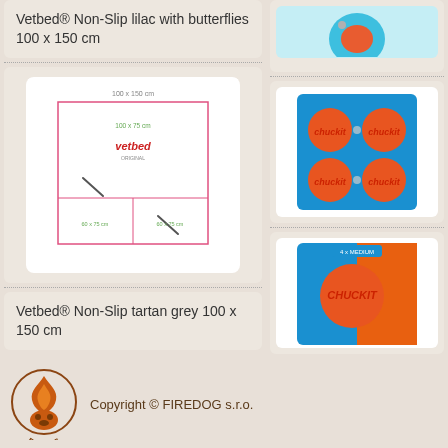Vetbed® Non-Slip lilac with butterflies 100 x 150 cm
[Figure (illustration): Vetbed product diagram showing dimensions with pink border outline and Vetbed logo]
Vetbed® Non-Slip tartan grey 100 x 150 cm
[Figure (photo): Chuckit balls 4-pack in blue blister packaging]
[Figure (photo): Chuckit single ball in blue and orange blister packaging]
Copyright © FIREDOG s.r.o.